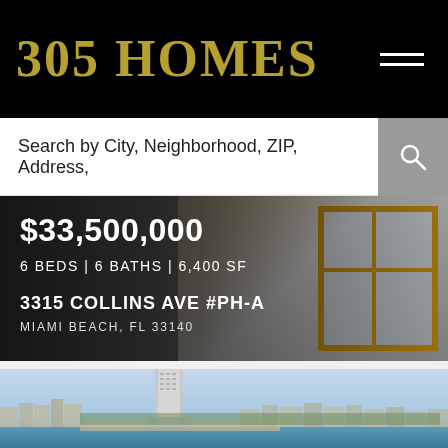305 HOMES
Search by City, Neighborhood, ZIP, Address,
$33,500,000
6 BEDS | 6 BATHS | 6,400 SF
3315 COLLINS AVE #PH-A
MIAMI BEACH, FL 33140
[Figure (photo): Aerial view of Miami Beach coastline with a tall modern skyscraper tower in the foreground, ocean and beach visible, city skyline in background]